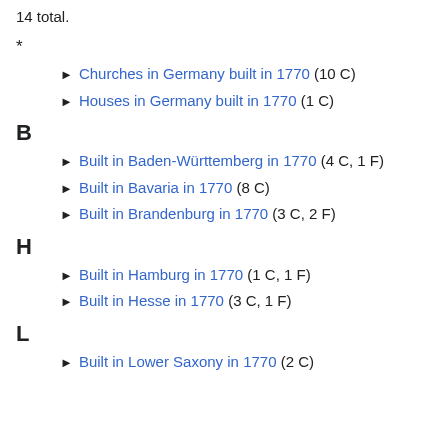14 total.
*
Churches in Germany built in 1770 (10 C)
Houses in Germany built in 1770 (1 C)
B
Built in Baden-Württemberg in 1770 (4 C, 1 F)
Built in Bavaria in 1770 (8 C)
Built in Brandenburg in 1770 (3 C, 2 F)
H
Built in Hamburg in 1770 (1 C, 1 F)
Built in Hesse in 1770 (3 C, 1 F)
L
Built in Lower Saxony in 1770 (2 C)